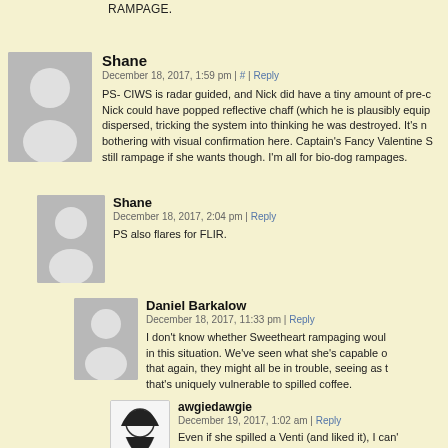RAMPAGE.
Shane
December 18, 2017, 1:59 pm | # | Reply
PS- CIWS is radar guided, and Nick did have a tiny amount of pre-c... Nick could have popped reflective chaff (which he is plausibly equip... dispersed, tricking the system into thinking he was destroyed. It's n... bothering with visual confirmation here. Captain's Fancy Valentine S... still rampage if she wants though. I'm all for bio-dog rampages.
Shane
December 18, 2017, 2:04 pm | Reply
PS also flares for FLIR.
Daniel Barkalow
December 18, 2017, 11:33 pm | Reply
I don't know whether Sweetheart rampaging woul... in this situation. We've seen what she's capable o... that again, they might all be in trouble, seeing as t... that's uniquely vulnerable to spilled coffee.
awgiedawgie
December 19, 2017, 1:02 am | Reply
Even if she spilled a Venti (and liked it), I can'... have much effect on a ship that size, especia...